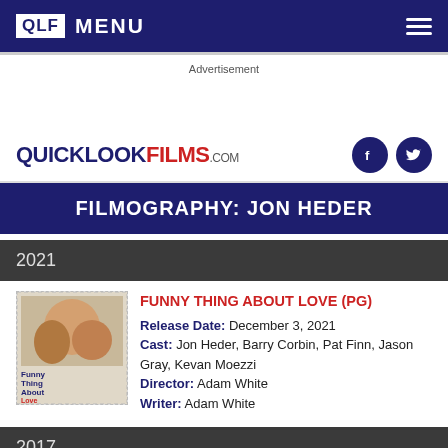QLF MENU
Advertisement
QUICKLOOKFILMS.COM
FILMOGRAPHY: JON HEDER
2021
FUNNY THING ABOUT LOVE (PG)
Release Date: December 3, 2021
Cast: Jon Heder, Barry Corbin, Pat Finn, Jason Gray, Kevan Moezzi
Director: Adam White
Writer: Adam White
2017